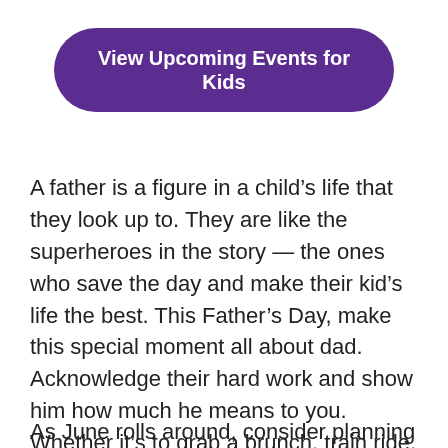View Upcoming Events for Kids
A father is a figure in a child’s life that they look up to. They are like the superheroes in the story — the ones who save the day and make their kid’s life the best. This Father’s Day, make this special moment all about dad. Acknowledge their hard work and show him how much he means to you. Whether it’s to grab a brunch, train ride, cruise ship, or a car show, dad will appreciate having to spend quality time together.
As June rolls around, consider planning how to